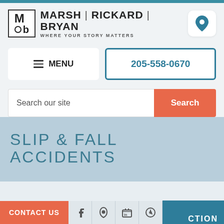[Figure (logo): Marsh Rickard Bryan law firm logo with MRB initials and tagline WHERE YOUR STORY MATTERS]
≡ MENU
205-558-0670
Search our site
Search
SLIP & FALL ACCIDENTS
CONTACT US
IN THIS SECTION